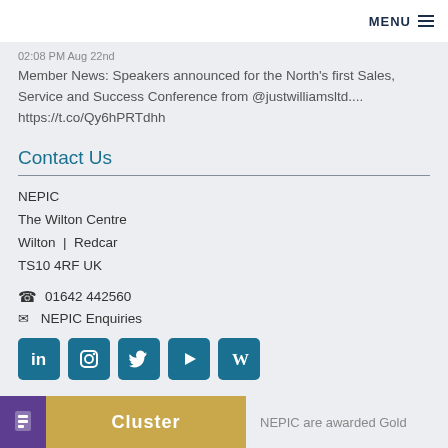MENU
02:08 PM Aug 22nd
Member News: Speakers announced for the North's first Sales, Service and Success Conference from @justwilliamsltd.... https://t.co/Qy6hPRTdhh
Contact Us
NEPIC
The Wilton Centre
Wilton | Redcar
TS10 4RF UK
01642 442560
NEPIC Enquiries
[Figure (infographic): Social media icons: LinkedIn, Instagram, Twitter, YouTube, Wikipedia]
NEPIC are awarded Gold